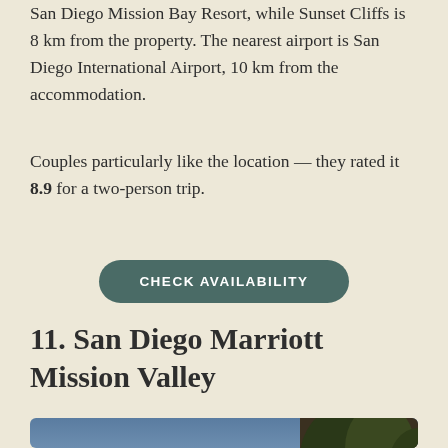San Diego Mission Bay Resort, while Sunset Cliffs is 8 km from the property. The nearest airport is San Diego International Airport, 10 km from the accommodation.
Couples particularly like the location — they rated it 8.9 for a two-person trip.
CHECK AVAILABILITY
11. San Diego Marriott Mission Valley
[Figure (photo): Exterior photo of San Diego Marriott Mission Valley hotel building at dusk/evening, showing a multi-story hotel tower with lit windows, trees on the right side, and a purple-blue sky in the background.]